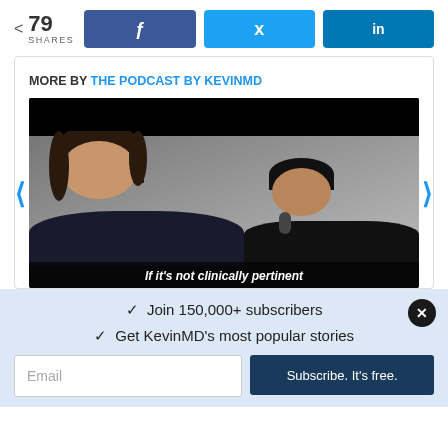79 SHARES
[Figure (screenshot): Share buttons row: Facebook (f), Twitter (bird icon), LinkedIn (in)]
MORE BY THE PODCAST BY KEVINMD
[Figure (photo): Video thumbnail showing two people in a video call/podcast setting, with subtitle text 'If it's not clinically pertinent']
Join 150,000+ subscribers
Get KevinMD's most popular stories
Email
Subscribe. It's free.